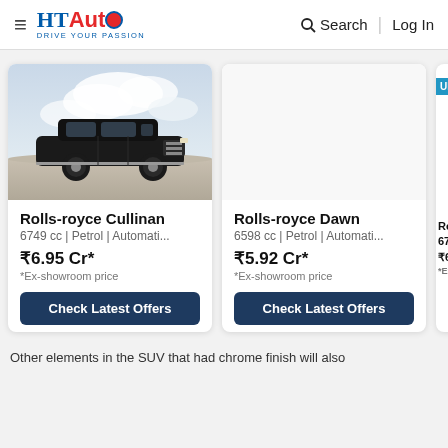HT Auto — Drive Your Passion | Search | Log In
[Figure (photo): Rolls-Royce Cullinan black SUV on sandy terrain with dramatic cloudy sky background]
Rolls-royce Cullinan
6749 cc | Petrol | Automati...
₹6.95 Cr*
*Ex-showroom price
Check Latest Offers
Rolls-royce Dawn
6598 cc | Petrol | Automati...
₹5.92 Cr*
*Ex-showroom price
Check Latest Offers
Ro
67
₹6
*Ex
Other elements in the SUV that had chrome finish will also